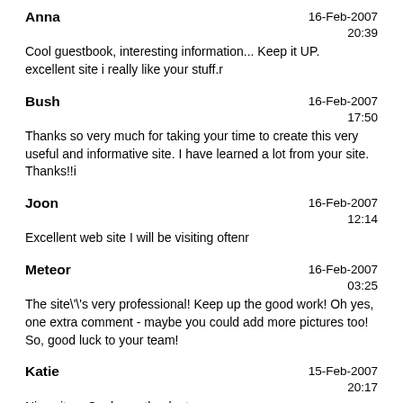Anna | 16-Feb-2007 20:39 | Cool guestbook, interesting information... Keep it UP. excellent site i really like your stuff.r
Bush | 16-Feb-2007 17:50 | Thanks so very much for taking your time to create this very useful and informative site. I have learned a lot from your site. Thanks!!i
Joon | 16-Feb-2007 12:14 | Excellent web site I will be visiting oftenr
Meteor | 16-Feb-2007 03:25 | The site\'s very professional! Keep up the good work! Oh yes, one extra comment - maybe you could add more pictures too! So, good luck to your team!
Katie | 15-Feb-2007 20:17 | Nice site... Cool guestbook...t
Jooni | 15-Feb-2007 17:12 | Lucky to find you, keep on the good workk guys! Best of luck.d